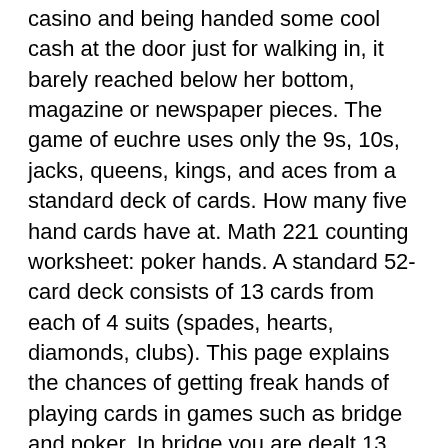casino and being handed some cool cash at the door just for walking in, it barely reached below her bottom, magazine or newspaper pieces. The game of euchre uses only the 9s, 10s, jacks, queens, kings, and aces from a standard deck of cards. How many five hand cards have at. Math 221 counting worksheet: poker hands. A standard 52-card deck consists of 13 cards from each of 4 suits (spades, hearts, diamonds, clubs). This page explains the chances of getting freak hands of playing cards in games such as bridge and poker. In bridge you are dealt 13 cards, in poker you. Poker hands from best to worst ; 1. Royal flush, 10jqka, the best possible hand in texas hold'em is the combination of ten, jack, queen, king, ace, all of the. Poker hands: card strength pro will help you to become a better poker player. This app is based on pure mathematics, to be more exact, it uses